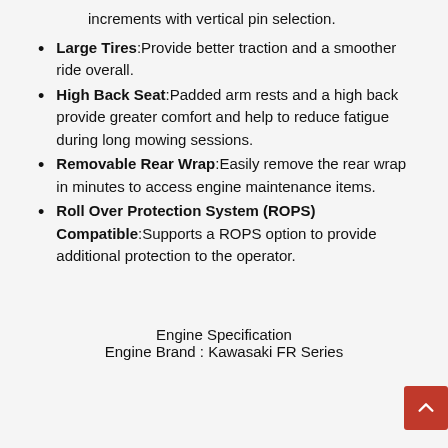increments with vertical pin selection.
Large Tires:Provide better traction and a smoother ride overall.
High Back Seat:Padded arm rests and a high back provide greater comfort and help to reduce fatigue during long mowing sessions.
Removable Rear Wrap:Easily remove the rear wrap in minutes to access engine maintenance items.
Roll Over Protection System (ROPS) Compatible:Supports a ROPS option to provide additional protection to the operator.
Engine Specification
Engine Brand : Kawasaki FR Series